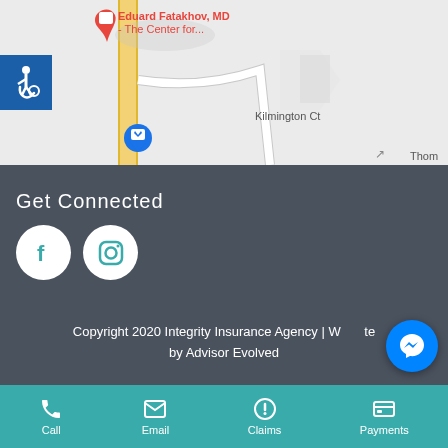[Figure (screenshot): Google Maps screenshot showing Eduard Fatakhov MD - The Center for... location pin in red/orange, with street map showing Kilmington Ct, motive Service label, and a blue shopping pin. Accessibility wheelchair icon badge in blue on left side.]
Get Connected
[Figure (other): Facebook and Instagram social media icon circles (white circles with teal icons on dark grey background)]
Copyright 2020 Integrity Insurance Agency | Website by Advisor Evolved
[Figure (other): Blue Facebook Messenger floating button icon]
Call  Email  Claims  Payments